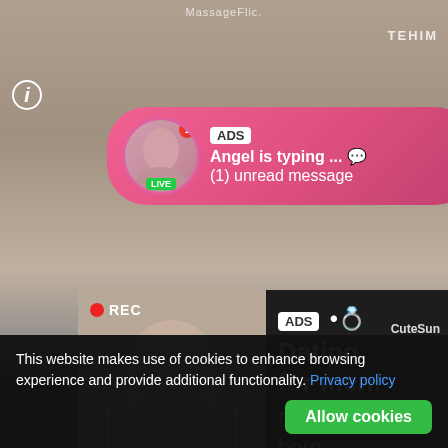[Figure (screenshot): Website screenshot showing adult content platform with two ad overlays and a cookie consent bar. Top ad shows 'ADS Angel is typing ... (1) unread message' with avatar and LIVE badge. Main ad shows 'ADS • Dating for men! Find bad girls here' over a photo. Cookie bar at bottom reads 'This website makes use of cookies to enhance browsing experience and provide additional functionality.' with Privacy policy link and Allow cookies button.]
ADS
Angel is typing ... 💬
(1) unread message
ADS • 💋 Dating for men!
Find bad girls here 👇
This website makes use of cookies to enhance browsing experience and provide additional functionality.
Privacy policy
Allow cookies